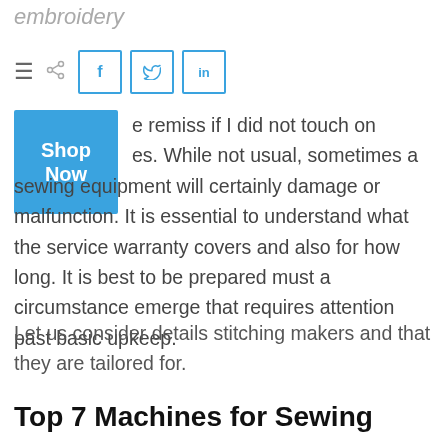embroidery
[Figure (infographic): Toolbar with hamburger menu, share icon, and social media buttons for Facebook, Twitter, and LinkedIn, plus a blue 'Shop Now' button]
I would be remiss if I did not touch on warranties. While not usual, sometimes a sewing equipment will certainly damage or malfunction. It is essential to understand what the service warranty covers and also for how long. It is best to be prepared must a circumstance emerge that requires attention past basic upkeep.
Let us consider details stitching makers and that they are tailored for.
Top 7 Machines for Sewing